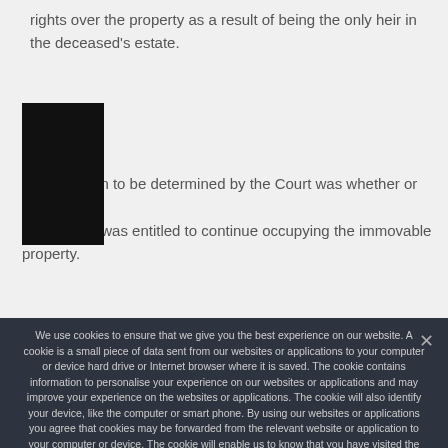rights over the property as a result of being the only heir in the deceased's estate.
The question to be determined by the Court was whether or not the First Respondent was entitled to continue occupying the immovable property.
We use cookies to ensure that we give you the best experience on our website. A cookie is a small piece of data sent from our websites or applications to your computer or device hard drive or Internet browser where it is saved. The cookie contains information to personalise your experience on our websites or applications and may improve your experience on the websites or applications. The cookie will also identify your device, like the computer or smart phone. By using our websites or applications you agree that cookies may be forwarded from the relevant website or application to your computer or device. The cookie will enable us to know that you have visited the website or application before and will identify you. We may also use the cookie to prevent fraud and for analytics.
Accept | No | Privacy policy